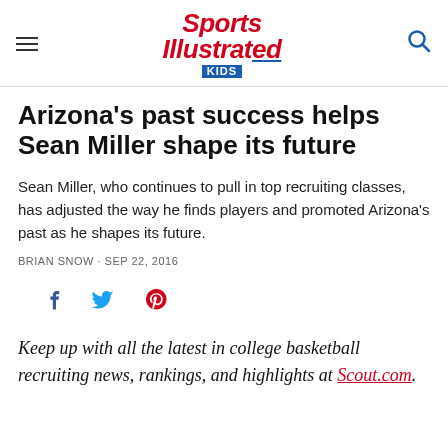Sports Illustrated KIDS
Arizona's past success helps Sean Miller shape its future
Sean Miller, who continues to pull in top recruiting classes, has adjusted the way he finds players and promoted Arizona's past as he shapes its future.
BRIAN SNOW · SEP 22, 2016
[Figure (other): Social sharing icons: Facebook, Twitter, Pinterest]
Keep up with all the latest in college basketball recruiting news, rankings, and highlights at Scout.com.